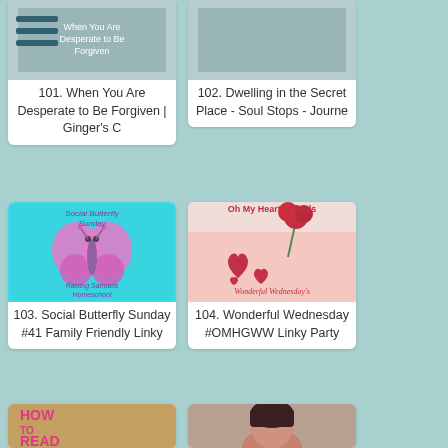[Figure (other): Hamburger menu icon (three horizontal lines)]
[Figure (photo): Partially visible image for item 101 - When You Are Desperate to Be Forgiven]
101. When You Are Desperate to Be Forgiven | Ginger's C
[Figure (photo): Partially visible image for item 102 - Dwelling in the Secret Place]
102. Dwelling in the Secret Place - Soul Stops - Journe
[Figure (illustration): Social Butterfly Sunday logo with pink butterfly on cyan background, text: Raising Samuels Homeschool]
103. Social Butterfly Sunday #41 Family Friendly Linky
[Figure (illustration): Oh My Heartsie Girls - Wonderful Wednesday's image with red hearts and rose on pink background]
104. Wonderful Wednesday #OMHGWW Linky Party
[Figure (photo): How To Read The Bible book cover - partially visible]
[Figure (photo): Woman in red shirt smiling - partially visible at bottom]